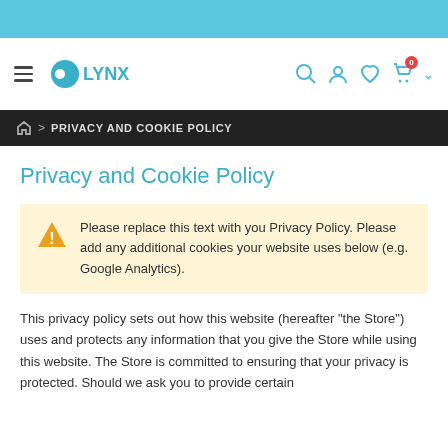≡  LYNX  [search] [account] [wishlist] [cart 0] [dropdown]
🏠 > PRIVACY AND COOKIE POLICY
Privacy and Cookie Policy
Please replace this text with you Privacy Policy. Please add any additional cookies your website uses below (e.g. Google Analytics).
This privacy policy sets out how this website (hereafter "the Store") uses and protects any information that you give the Store while using this website. The Store is committed to ensuring that your privacy is protected. Should we ask you to provide certain information by which you can be identified when using this website, then